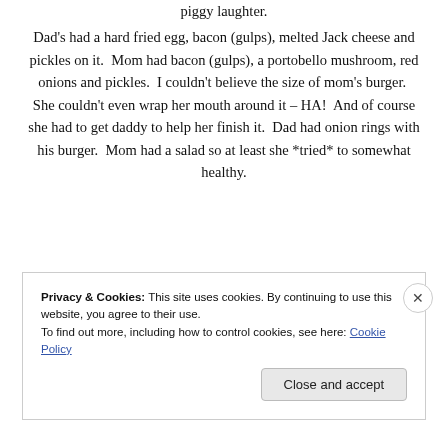piggy laughter. Dad's had a hard fried egg, bacon (gulps), melted Jack cheese and pickles on it.  Mom had bacon (gulps), a portobello mushroom, red onions and pickles.  I couldn't believe the size of mom's burger.  She couldn't even wrap her mouth around it – HA!  And of course she had to get daddy to help her finish it.  Dad had onion rings with his burger.  Mom had a salad so at least she *tried* to somewhat healthy.
Privacy & Cookies: This site uses cookies. By continuing to use this website, you agree to their use.
To find out more, including how to control cookies, see here: Cookie Policy